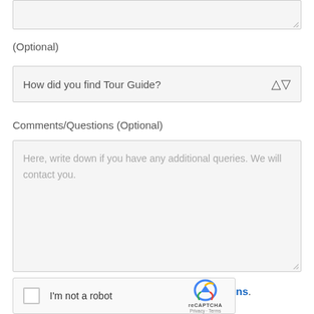[Figure (screenshot): Textarea input box (top, partially visible), with resize handle at bottom-right corner]
(Optional)
[Figure (screenshot): Dropdown select box with placeholder text 'How did you find Tour Guide?' and up/down arrow icon on right]
Comments/Questions (Optional)
[Figure (screenshot): Textarea with placeholder text: 'Here, write down if you have any additional queries. We will contact you.' with resize handle at bottom-right]
I agree to Tour Guide Terms and Conditions.
[Figure (screenshot): reCAPTCHA widget with checkbox, 'I'm not a robot' label, reCAPTCHA logo, and Privacy/Terms links]